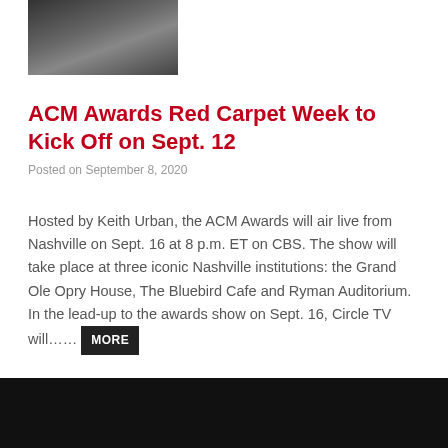[Figure (photo): Partial photo of a performer on stage, cropped at top of page]
ACM Awards Red Carpet Week to Kick Off on Sept. 12
Posted on September 8, 2020
Hosted by Keith Urban, the ACM Awards will air live from Nashville on Sept. 16 at 8 p.m. ET on CBS. The show will take place at three iconic Nashville institutions: the Grand Ole Opry House, The Bluebird Cafe and Ryman Auditorium. In the lead-up to the awards show on Sept. 16, Circle TV will…….
[Figure (photo): Partial photo of two performers on stage, partially visible at bottom of page]